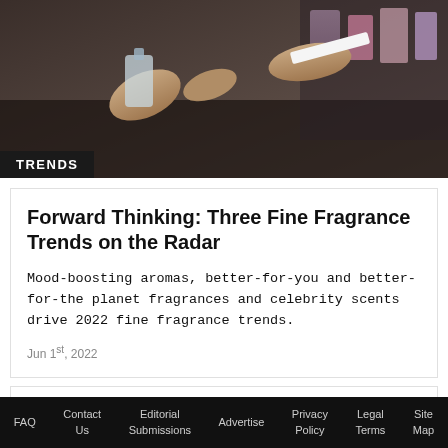[Figure (photo): Close-up photo of hands holding a perfume bottle and a test strip in a retail fragrance setting, dark background with store shelves visible]
TRENDS
Forward Thinking: Three Fine Fragrance Trends on the Radar
Mood-boosting aromas, better-for-you and better-for-the planet fragrances and celebrity scents drive 2022 fine fragrance trends.
Jun 1st, 2022
FAQ  Contact Us  Editorial Submissions  Advertise  Privacy Policy  Legal Terms  Site Map